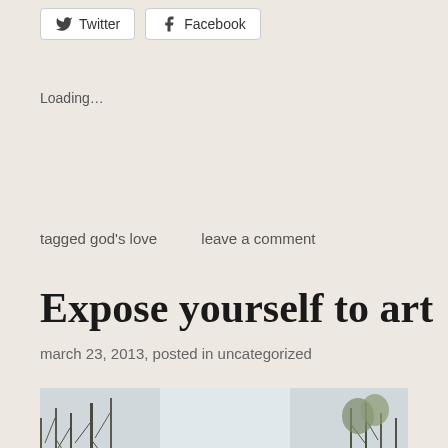Twitter   Facebook
Loading...
tagged god's love     leave a comment
Expose yourself to art
march 23, 2013, posted in uncategorized
[Figure (photo): Outdoor photo showing a large dark bronze sculpture head in the foreground with bare trees and sky in the background]